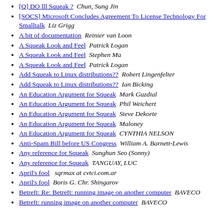[Q] DO lll Squeak ?  Chun, Sung Jin
[SOCS] Microsoft Concludes Agreement To License Technology For Smalltalk  Liz Grigg
A bit of documentation  Reinier van Loon
A Squeak Look and Feel  Patrick Logan
A Squeak Look and Feel  Stephen Ma
A Squeak Look and Feel  Patrick Logan
Add Squeak to Linux distributions??  Robert Lingenfelter
Add Squeak to Linux distributions??  Ian Bicking
An Education Argument for Squeak  Mark Guzdial
An Education Argument for Squeak  Phil Weichert
An Education Argument for Squeak  Steve Dekorte
An Education Argument for Squeak  Maloney
An Education Argument for Squeak  CYNTHIA NELSON
Anti-Spam Bill before US Congress  William A. Barnett-Lewis
Any reference for Squeak  Sunghun Seo (Sonny)
Any reference for Squeak  TANGUAY, LUC
April's fool  sqrmax at cvtci.com.ar
April's fool  Boris G. Chr. Shingarov
Betreft: Re: Betreft: running image on another computer  BAVECO
Betreft: running image on another computer  BAVECO
Betreft: running image on another computer  Belgin